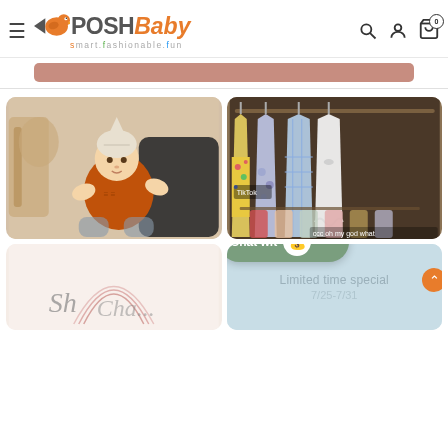POSH Baby — smart.fashionable.fun
[Figure (photo): Baby in orange romper with pointy knit hat, sitting with adult on wooden floor]
[Figure (photo): Girls' dresses hanging on rack — floral, blue, white lace styles; TikTok watermark visible; text overlay: ccc oh my god what]
[Figure (photo): Script/calligraphy style logo or brand art with rainbow arc, partial view]
[Figure (infographic): Light blue card with text: Limited time special 7/25-7/31; Chat wit emoji chat bubble overlay]
Chat wit
Limited time special
7/25-7/31